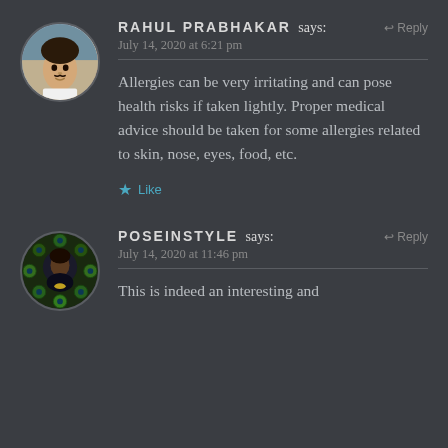RAHUL PRABHAKAR says:
July 14, 2020 at 6:21 pm
Allergies can be very irritating and can pose health risks if taken lightly. Proper medical advice should be taken for some allergies related to skin, nose, eyes, food, etc.
Like
POSEINSTYLE says:
July 14, 2020 at 11:46 pm
This is indeed an interesting and